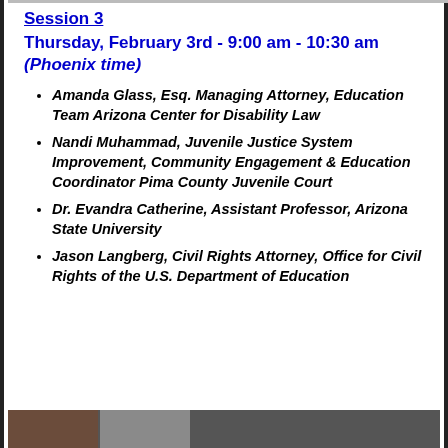Session 3
Thursday, February 3rd - 9:00 am - 10:30 am (Phoenix time)
Amanda Glass, Esq. Managing Attorney, Education Team Arizona Center for Disability Law
Nandi Muhammad, Juvenile Justice System Improvement, Community Engagement & Education Coordinator Pima County Juvenile Court
Dr. Evandra Catherine, Assistant Professor, Arizona State University
Jason Langberg, Civil Rights Attorney, Office for Civil Rights of the U.S. Department of Education
[Figure (photo): Two small portrait photos at the bottom of the page]